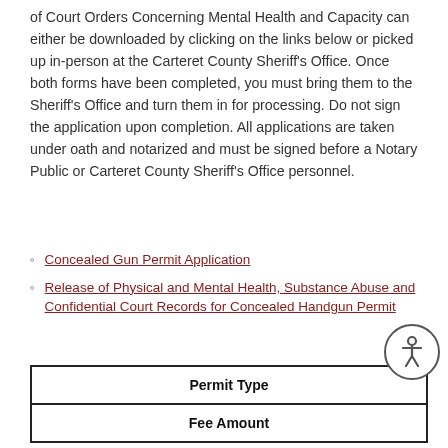of Court Orders Concerning Mental Health and Capacity can either be downloaded by clicking on the links below or picked up in-person at the Carteret County Sheriff's Office. Once both forms have been completed, you must bring them to the Sheriff's Office and turn them in for processing. Do not sign the application upon completion. All applications are taken under oath and notarized and must be signed before a Notary Public or Carteret County Sheriff's Office personnel.
Concealed Gun Permit Application
Release of Physical and Mental Health, Substance Abuse and Confidential Court Records for Concealed Handgun Permit
| Permit Type | Fee Amount |
| --- | --- |